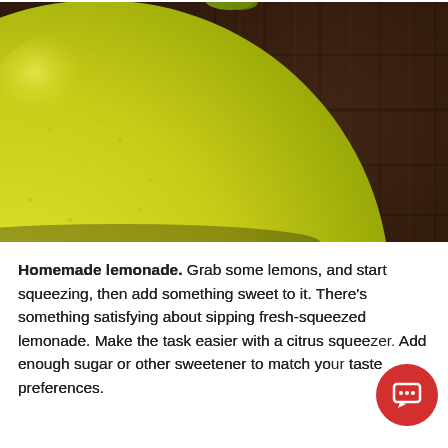[Figure (photo): Close-up photograph of a yellow lemon on a dark wooden surface. The lemon fills the left portion of the image, showing its textured yellow-green skin. The background shows dark brown wood grain planks.]
Homemade lemonade. Grab some lemons, and start squeezing, then add something sweet to it. There's something satisfying about sipping fresh-squeezed lemonade. Make the task easier with a citrus squeezer. Add enough sugar or other sweetener to match your taste preferences.